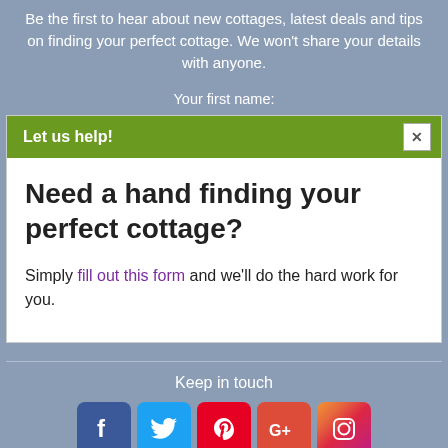Be the first to hear about new cottages, latest deals and tips on finding your perfect cottage. We won't share your details with anyone.
Your first name:
Let us help!
Need a hand finding your perfect cottage?
Simply fill out this form and we'll do the hard work for you.
Keep in touch
[Figure (infographic): Social media icons: Facebook, Twitter, Pinterest, Google+, Instagram]